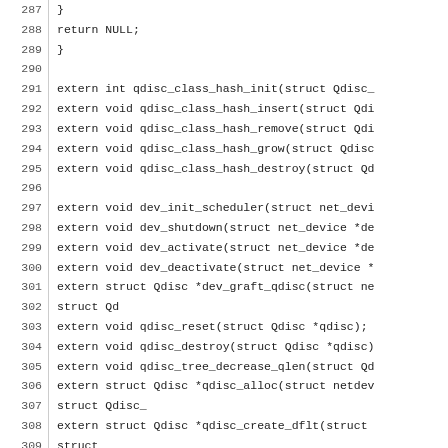Source code listing lines 287-316, C header file with extern function declarations for qdisc and tcf networking functions.